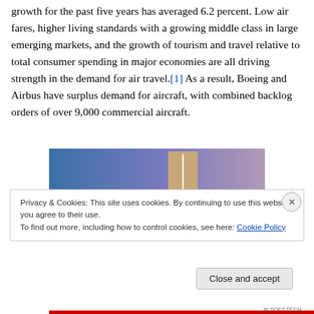growth for the past five years has averaged 6.2 percent. Low air fares, higher living standards with a growing middle class in large emerging markets, and the growth of tourism and travel relative to total consumer spending in major economies are all driving strength in the demand for air travel.[1] As a result, Boeing and Airbus have surplus demand for aircraft, with combined backlog orders of over 9,000 commercial aircraft.
[Figure (other): Partially visible chart/image with blue-to-purple gradient background and a tan/beige rectangular element in the upper center-right area]
Privacy & Cookies: This site uses cookies. By continuing to use this website, you agree to their use.
To find out more, including how to control cookies, see here: Cookie Policy
Close and accept